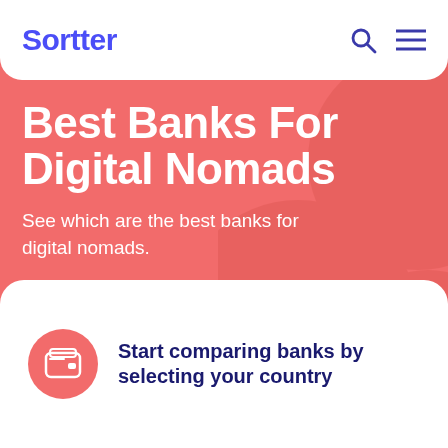Sortter
Best Banks For Digital Nomads
See which are the best banks for digital nomads.
Start comparing banks by selecting your country